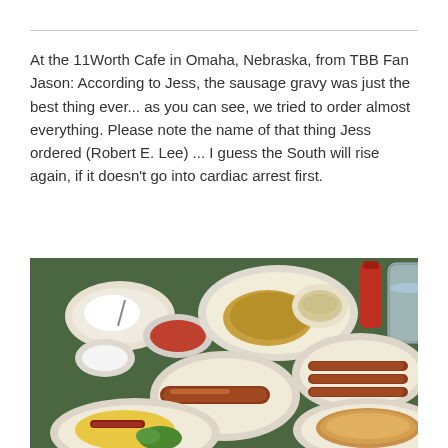At the 11Worth Cafe in Omaha, Nebraska, from TBB Fan Jason: According to Jess, the sausage gravy was just the best thing ever... as you can see, we tried to order almost everything. Please note the name of that thing Jess ordered (Robert E. Lee) ... I guess the South will rise again, if it doesn't go into cardiac arrest first.
[Figure (photo): A table at 11Worth Cafe in Omaha, Nebraska covered with multiple plates of breakfast food including biscuits and gravy, hash browns, bacon strips, eggs, pancakes, and various side dishes on a green table, with condiments and drinks visible.]